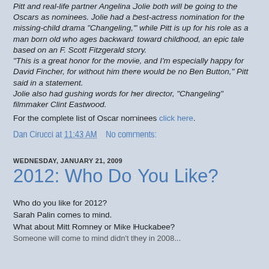Pitt and real-life partner Angelina Jolie both will be going to the Oscars as nominees. Jolie had a best-actress nomination for the missing-child drama "Changeling," while Pitt is up for his role as a man born old who ages backward toward childhood, an epic tale based on an F. Scott Fitzgerald story. "This is a great honor for the movie, and I'm especially happy for David Fincher, for without him there would be no Ben Button," Pitt said in a statement. Jolie also had gushing words for her director, "Changeling" filmmaker Clint Eastwood. For the complete list of Oscar nominees click here.
Dan Cirucci at 11:43 AM   No comments:
WEDNESDAY, JANUARY 21, 2009
2012: Who Do You Like?
Who do you like for 2012?
Sarah Palin comes to mind.
What about Mitt Romney or Mike Huckabee?